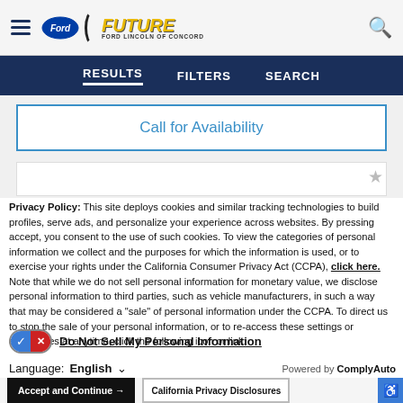[Figure (logo): Future Ford Lincoln of Concord dealership logo with Ford oval badge and hamburger menu icon]
RESULTS   FILTERS   SEARCH
Call for Availability
Privacy Policy: This site deploys cookies and similar tracking technologies to build profiles, serve ads, and personalize your experience across websites. By pressing accept, you consent to the use of such cookies. To view the categories of personal information we collect and the purposes for which the information is used, or to exercise your rights under the California Consumer Privacy Act (CCPA), click here. Note that while we do not sell personal information for monetary value, we disclose personal information to third parties, such as vehicle manufacturers, in such a way that may be considered a "sale" of personal information under the CCPA. To direct us to stop the sale of your personal information, or to re-access these settings or disclosures at anytime, click the following icon or link:
Do Not Sell My Personal Information
Language: English   Powered by ComplyAuto
Accept and Continue →   California Privacy Disclosures